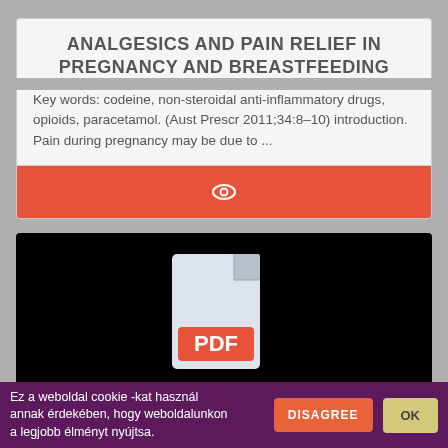ANALGESICS AND PAIN RELIEF IN PREGNANCY AND BREASTFEEDING
Key words: codeine, non-steroidal anti-inflammatory drugs, opioids, paracetamol. (Aust Prescr 2011;34:8–10) introduction. Pain during pregnancy may be due to ...
[Figure (screenshot): Red button with eye/view icon for viewing the article]
[Figure (screenshot): Black background section with PDF file icon in grey/white with red PDF label badge]
DISAPPEARANCE OF A MYOMA AFTER
Ez a weboldal cookie -kat használ annak érdekében, hogy weboldalunkon a legjobb élményt nyújtsa.
DISAGREE
OK